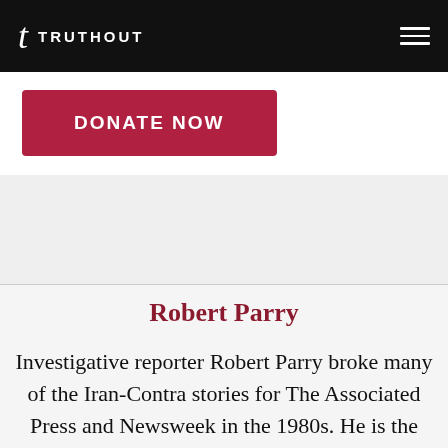TRUTHOUT
[Figure (other): DONATE NOW button in dark red/crimson color]
Robert Parry
Investigative reporter Robert Parry broke many of the Iran-Contra stories for The Associated Press and Newsweek in the 1980s. He is the author of America's Stolen Narrative and the